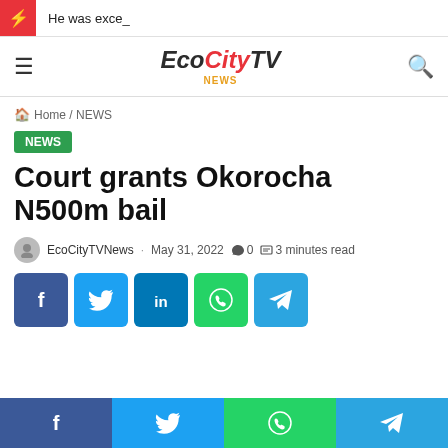He was exce_
[Figure (logo): EcoCity TV News logo with stylized text]
Home / NEWS
NEWS
Court grants Okorocha N500m bail
EcoCityTVNews · May 31, 2022  0  3 minutes read
[Figure (infographic): Social share buttons: Facebook, Twitter, LinkedIn, WhatsApp, Telegram]
[Figure (infographic): Bottom sticky social share bar: Facebook, Twitter, WhatsApp, Telegram]